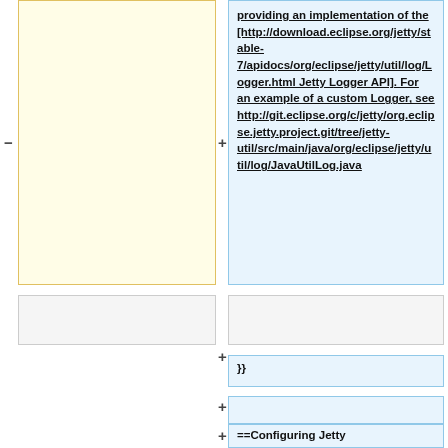providing an implementation of the [http://download.eclipse.org/jetty/stable-7/apidocs/org/eclipse/jetty/util/log/Logger.html Jetty Logger API]. For an example of a custom Logger, see http://git.eclipse.org/c/jetty/org.eclipse.jetty.project.git/tree/jetty-util/src/main/java/org/eclipse/jetty/util/log/JavaUtilLog.java
}}
==Configuring Jetty